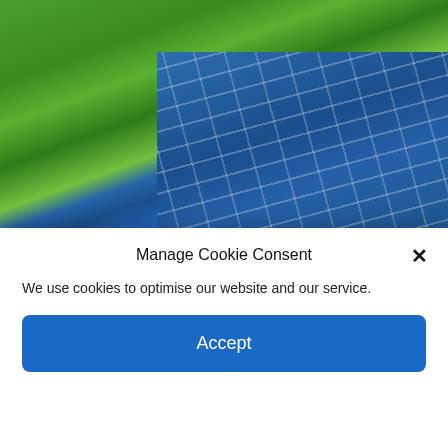[Figure (photo): Solar panels in a tropical setting with palm trees and blue sky in the background]
@Jeremy Bezanger on Unsplash
Off-grid solar expansion and economic development in the global South
[partially obscured article date/author line in red]
Manage Cookie Consent
We use cookies to optimise our website and our service.
Accept